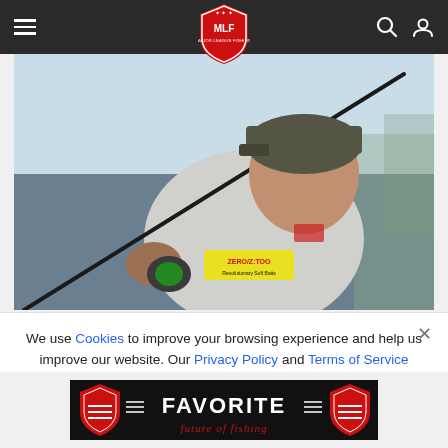MLF Major League Fishing navigation bar with hamburger menu, MLF shield logo, search and user icons
[Figure (photo): A professional bass fisherman in a cap and sponsored jersey holding a fishing rod, outdoors with a light sky background. A ZERO/Z:TOO bait package is visible.]
We use Cookies to improve your browsing experience and help us improve our website. Our Privacy Policy and Terms of Service have changed. Click OK to agree.
[Figure (logo): Favorite Fishing logo — two red shield emblems flanking the FAVORITE wordmark in white, with 'future of fishing' in red script below, on black background]